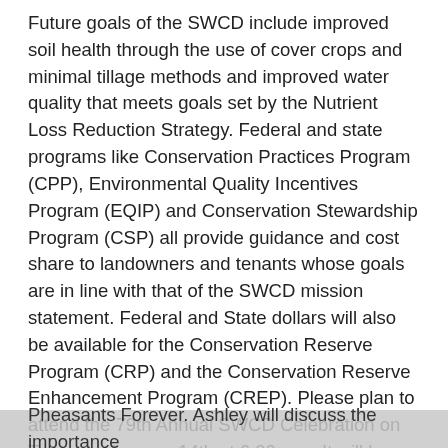Future goals of the SWCD include improved soil health through the use of cover crops and minimal tillage methods and improved water quality that meets goals set by the Nutrient Loss Reduction Strategy. Federal and state programs like Conservation Practices Program (CPP), Environmental Quality Incentives Program (EQIP) and Conservation Stewardship Program (CSP) all provide guidance and cost share to landowners and tenants whose goals are in line with that of the SWCD mission statement. Federal and State dollars will also be available for the Conservation Reserve Program (CRP) and the Conservation Reserve Enhancement Program (CREP). Please plan to attend the 79th Annual SWCD Celebration on Tuesday, January 14th at 6:00 p.m. It will be held at the U of I Extension office in Hillsboro. A light dinner will be provided with a short program from Ashley Dawson, Farm Bill Biologist with Pheasants Forever. Ashley will discuss the importance